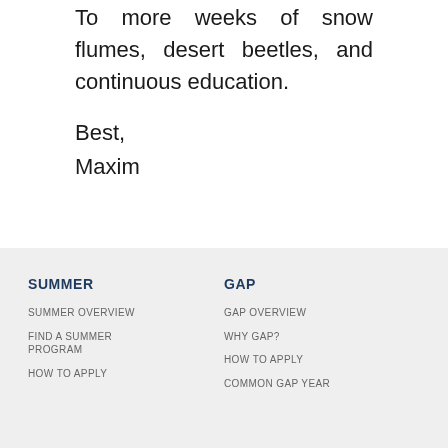To more weeks of snow flumes, desert beetles, and continuous education.
Best,
Maxim
SUMMER
SUMMER OVERVIEW
FIND A SUMMER PROGRAM
HOW TO APPLY
GAP
GAP OVERVIEW
WHY GAP?
HOW TO APPLY
COMMON GAP YEAR